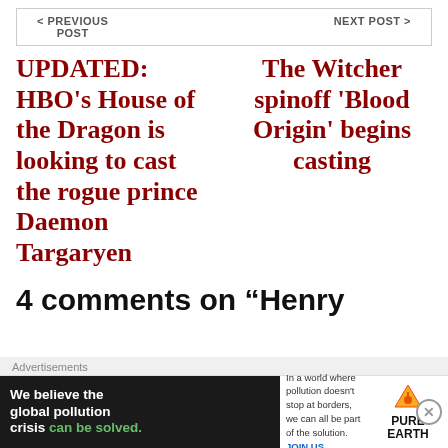< PREVIOUS POST     NEXT POST >
UPDATED: HBO's House of the Dragon is looking to cast the rogue prince Daemon Targaryen
The Witcher spinoff 'Blood Origin' begins casting
4 comments on “Henry
Advertisements
[Figure (infographic): Pure Earth advertisement: 'We believe the global pollution crisis can be solved.' with Pure Earth logo]